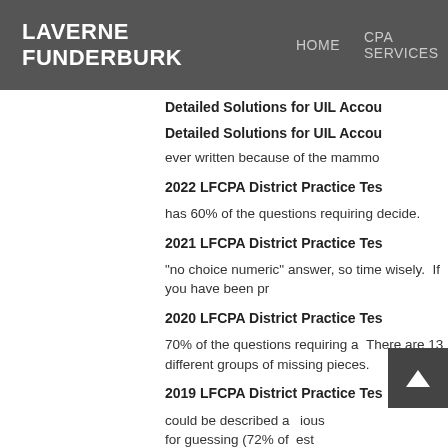LAVERNE FUNDERBURK | HOME | CPA SERVICES
Detailed Solutions for UIL Accou
Detailed Solutions for UIL Accou
ever written because of the mammo
2022 LFCPA District Practice Tes
has 60% of the questions requiring decide.
2021 LFCPA District Practice Tes
"no choice numeric" answer, so time wisely.  If you have been pr
2020 LFCPA District Practice Tes
70% of the questions requiring a  There are 13 different groups of missing pieces.
2019 LFCPA District Practice Tes
could be described as ious for guessing (72% of est means lots of variety of formats.
2018 LFCPA District Practice Tes